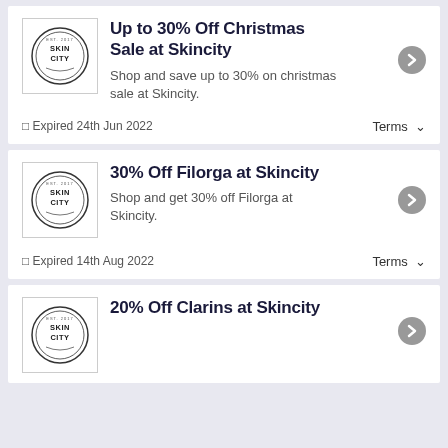Up to 30% Off Christmas Sale at Skincity
Shop and save up to 30% on christmas sale at Skincity.
□ Expired 24th Jun 2022    Terms ∨
30% Off Filorga at Skincity
Shop and get 30% off Filorga at Skincity.
□ Expired 14th Aug 2022    Terms ∨
20% Off Clarins at Skincity